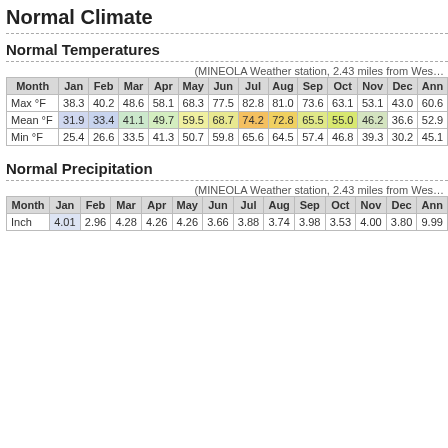Normal Climate
Normal Temperatures
(MINEOLA Weather station, 2.43 miles from Wes…)
| Month | Jan | Feb | Mar | Apr | May | Jun | Jul | Aug | Sep | Oct | Nov | Dec | Ann |
| --- | --- | --- | --- | --- | --- | --- | --- | --- | --- | --- | --- | --- | --- |
| Max °F | 38.3 | 40.2 | 48.6 | 58.1 | 68.3 | 77.5 | 82.8 | 81.0 | 73.6 | 63.1 | 53.1 | 43.0 | 60.6 |
| Mean °F | 31.9 | 33.4 | 41.1 | 49.7 | 59.5 | 68.7 | 74.2 | 72.8 | 65.5 | 55.0 | 46.2 | 36.6 | 52.9 |
| Min °F | 25.4 | 26.6 | 33.5 | 41.3 | 50.7 | 59.8 | 65.6 | 64.5 | 57.4 | 46.8 | 39.3 | 30.2 | 45.1 |
Normal Precipitation
(MINEOLA Weather station, 2.43 miles from Wes…)
| Month | Jan | Feb | Mar | Apr | May | Jun | Jul | Aug | Sep | Oct | Nov | Dec | Ann |
| --- | --- | --- | --- | --- | --- | --- | --- | --- | --- | --- | --- | --- | --- |
| Inch | 4.01 | 2.96 | 4.28 | 4.26 | 4.26 | 3.66 | 3.88 | 3.74 | 3.98 | 3.53 | 4.00 | 3.80 | 9.99 |